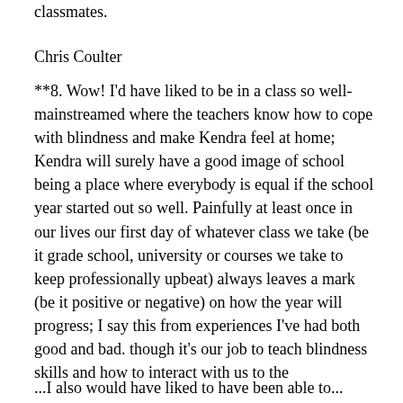classmates.
Chris Coulter
**8. Wow! I'd have liked to be in a class so well-mainstreamed where the teachers know how to cope with blindness and make Kendra feel at home; Kendra will surely have a good image of school being a place where everybody is equal if the school year started out so well. Painfully at least once in our lives our first day of whatever class we take (be it grade school, university or courses we take to keep professionally upbeat) always leaves a mark (be it positive or negative) on how the year will progress; I say this from experiences I've had both good and bad. though it's our job to teach blindness skills and how to interact with us to the teacher/facilitator and the group, it definitely feels awesome when the teacher/facilitator has had experiences with blind people; I always get a good gut feeling when this happens that I won't be left out from activities because the teacher beforehand, thinks of ways to include me in them.
...I also would have liked to have been able to...